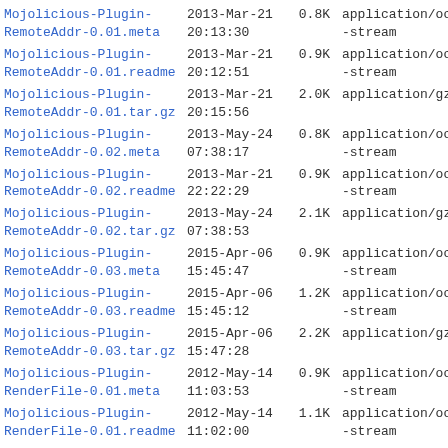| Filename | Date/Time | Size | Type |
| --- | --- | --- | --- |
| Mojolicious-Plugin-RemoteAddr-0.01.meta | 2013-Mar-21 20:13:30 | 0.8K | application/octet-stream |
| Mojolicious-Plugin-RemoteAddr-0.01.readme | 2013-Mar-21 20:12:51 | 0.9K | application/octet-stream |
| Mojolicious-Plugin-RemoteAddr-0.01.tar.gz | 2013-Mar-21 20:15:56 | 2.0K | application/gzip |
| Mojolicious-Plugin-RemoteAddr-0.02.meta | 2013-May-24 07:38:17 | 0.8K | application/octet-stream |
| Mojolicious-Plugin-RemoteAddr-0.02.readme | 2013-Mar-21 22:22:29 | 0.9K | application/octet-stream |
| Mojolicious-Plugin-RemoteAddr-0.02.tar.gz | 2013-May-24 07:38:53 | 2.1K | application/gzip |
| Mojolicious-Plugin-RemoteAddr-0.03.meta | 2015-Apr-06 15:45:47 | 0.9K | application/octet-stream |
| Mojolicious-Plugin-RemoteAddr-0.03.readme | 2015-Apr-06 15:45:12 | 1.2K | application/octet-stream |
| Mojolicious-Plugin-RemoteAddr-0.03.tar.gz | 2015-Apr-06 15:47:28 | 2.2K | application/gzip |
| Mojolicious-Plugin-RenderFile-0.01.meta | 2012-May-14 11:03:53 | 0.9K | application/octet-stream |
| Mojolicious-Plugin-RenderFile-0.01.readme | 2012-May-14 11:02:00 | 1.1K | application/octet-stream |